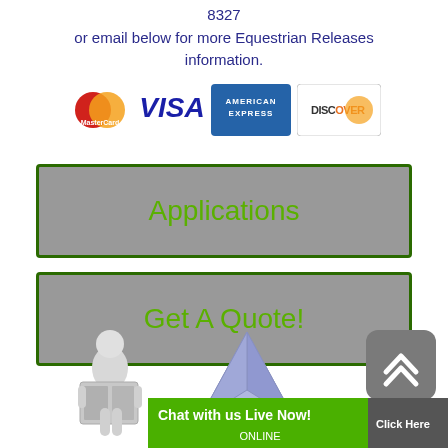8327
or email below for more Equestrian Releases information.
[Figure (other): Payment method logos: MasterCard, VISA, American Express, Discover]
[Figure (other): Button labeled Applications with green border on gray background]
[Figure (other): Button labeled Get A Quote! with green border on gray background]
[Figure (illustration): 3D figure reading a newspaper, blue 3D prism/tetrahedron shape, scroll-up button, and chat bar reading Chat with us Live Now! Click Here ONLINE at the bottom of the page]